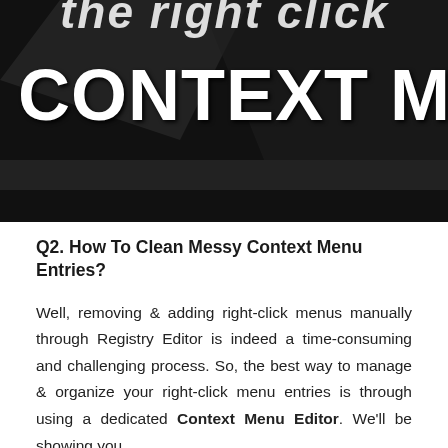[Figure (illustration): Dark themed banner image with text 'the right click CONTEXT MENU' on a dark gray/black gradient background with geometric shapes]
Q2. How To Clean Messy Context Menu Entries?
Well, removing & adding right-click menus manually through Registry Editor is indeed a time-consuming and challenging process. So, the best way to manage & organize your right-click menu entries is through using a dedicated Context Menu Editor. We'll be showing you